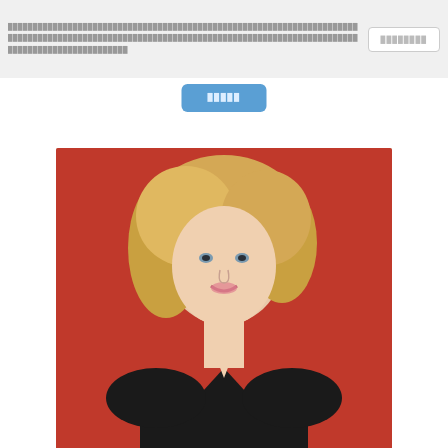████████████████████████████████████████████████████████████████████████████████████████████████████████████████████████████████████████████████████████████████████████████████
████████
█████
[Figure (photo): Headshot photo of a young woman with curly blonde hair wearing a black v-neck top against a red background]
Emily Chapman
Immigrant (uncredited)
[Figure (illustration): Generic blue placeholder silhouette of a person (default avatar/profile image placeholder)]